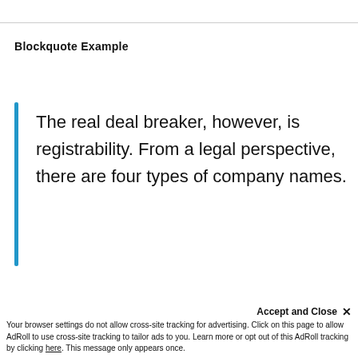Blockquote Example
The real deal breaker, however, is registrability. From a legal perspective, there are four types of company names.
USAGE:
<blockquote>
p Your blockquote c
Accept and Close ×
Your browser settings do not allow cross-site tracking for advertising. Click on this page to allow AdRoll to use cross-site tracking to tailor ads to you. Learn more or opt out of this AdRoll tracking by clicking here. This message only appears once.